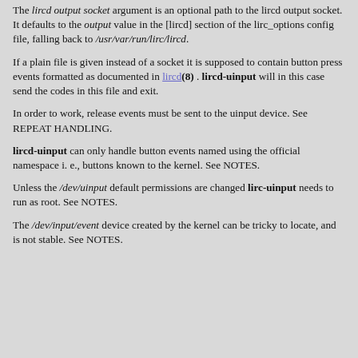The lircd output socket argument is an optional path to the lircd output socket. It defaults to the output value in the [lircd] section of the lirc_options config file, falling back to /usr/var/run/lirc/lircd.
If a plain file is given instead of a socket it is supposed to contain button press events formatted as documented in lircd(8) . lircd-uinput will in this case send the codes in this file and exit.
In order to work, release events must be sent to the uinput device. See REPEAT HANDLING.
lircd-uinput can only handle button events named using the official namespace i. e., buttons known to the kernel. See NOTES.
Unless the /dev/uinput default permissions are changed lirc-uinput needs to run as root. See NOTES.
The /dev/input/event device created by the kernel can be tricky to locate, and is not stable. See NOTES.